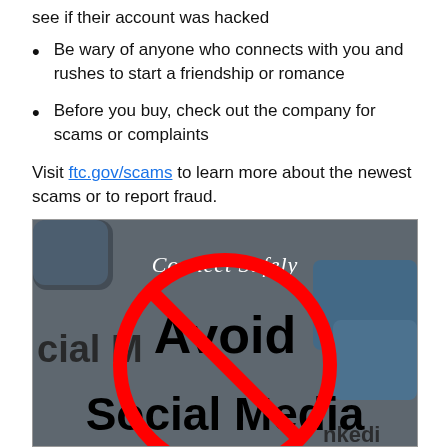see if their account was hacked
Be wary of anyone who connects with you and rushes to start a friendship or romance
Before you buy, check out the company for scams or complaints
Visit ftc.gov/scams to learn more about the newest scams or to report fraud.
[Figure (photo): Photo showing social media app icons in the background with text overlay reading 'Connect Safely' in white cursive, a large red prohibition circle-slash symbol, and bold black text reading 'Avoid Social Media'. Partial text 'cial M' and 'nkedi' visible at edges.]